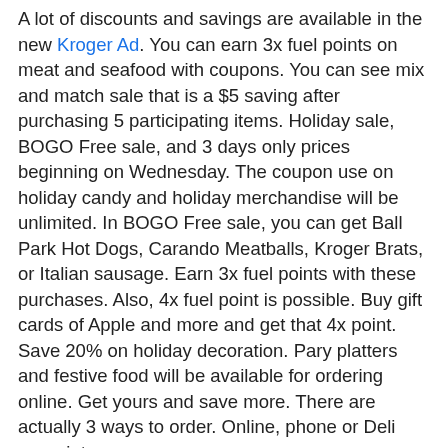A lot of discounts and savings are available in the new Kroger Ad. You can earn 3x fuel points on meat and seafood with coupons. You can see mix and match sale that is a $5 saving after purchasing 5 participating items. Holiday sale, BOGO Free sale, and 3 days only prices beginning on Wednesday. The coupon use on holiday candy and holiday merchandise will be unlimited. In BOGO Free sale, you can get Ball Park Hot Dogs, Carando Meatballs, Kroger Brats, or Italian sausage. Earn 3x fuel points with these purchases. Also, 4x fuel point is possible. Buy gift cards of Apple and more and get that 4x point. Save 20% on holiday decoration. Pary platters and festive food will be available for ordering online. Get yours and save more. There are actually 3 ways to order. Online, phone or Deli associate.
A lot of BOGO Free sale is available at Kroger: